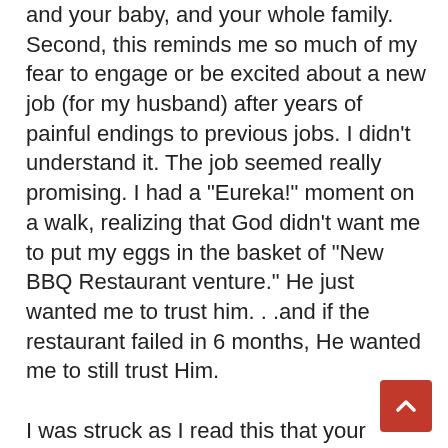and your baby, and your whole family. Second, this reminds me so much of my fear to engage or be excited about a new job (for my husband) after years of painful endings to previous jobs. I didn't understand it. The job seemed really promising. I had a "Eureka!" moment on a walk, realizing that God didn't want me to put my eggs in the basket of "New BBQ Restaurant venture." He just wanted me to trust him. . .and if the restaurant failed in 6 months, He wanted me to still trust Him.
I was struck as I read this that your situation is EXPONENTIALLY more complicated. Christ is still sufficient. . .but oh, the pain you have suffered, I think you